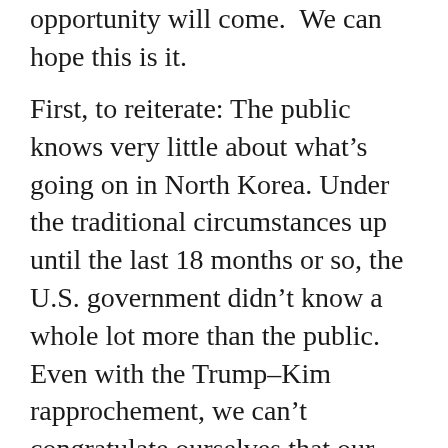opportunity will come.  We can hope this is it.
First, to reiterate: The public knows very little about what’s going on in North Korea. Under the traditional circumstances up until the last 18 months or so, the U.S. government didn’t know a whole lot more than the public.  Even with the Trump–Kim rapprochement, we can’t congratulate ourselves that our direct visibility into the machinations of the North Korean leadership has expanded that much.